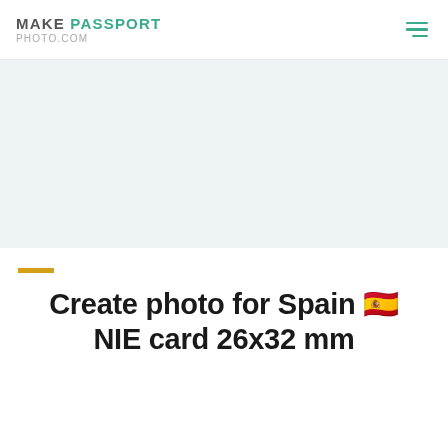MAKE PASSPORT PHOTO.COM
[Figure (other): Light grey-blue hero banner area, likely containing an advertisement or image placeholder]
Create photo for Spain 🇪🇸 NIE card 26x32 mm